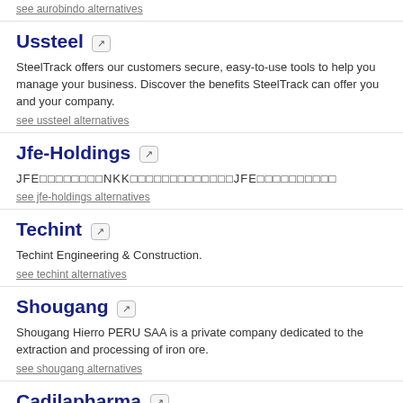see aurobindo alternatives
Ussteel
SteelTrack offers our customers secure, easy-to-use tools to help you manage your business. Discover the benefits SteelTrack can offer you and your company.
see ussteel alternatives
Jfe-Holdings
JFE鋼鐵NKK鋼鐵合併成立JFE鋼鐵
see jfe-holdings alternatives
Techint
Techint Engineering & Construction.
see techint alternatives
Shougang
Shougang Hierro PERU SAA is a private company dedicated to the extraction and processing of iron ore.
see shougang alternatives
Cadilapharma
One of the leading Pharmaceutical companies in India, Pharma Company in India, Ahmedabad supply API and formulations.
see cadilapharma alternatives